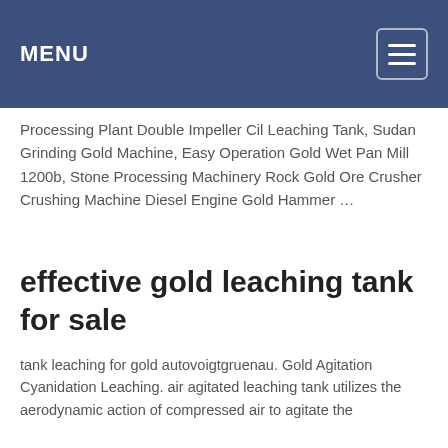MENU
Processing Plant Double Impeller Cil Leaching Tank, Sudan Grinding Gold Machine, Easy Operation Gold Wet Pan Mill 1200b, Stone Processing Machinery Rock Gold Ore Crusher Crushing Machine Diesel Engine Gold Hammer …
effective gold leaching tank for sale
tank leaching for gold autovoigtgruenau. Gold Agitation Cyanidation Leaching. air agitated leaching tank utilizes the aerodynamic action of compressed air to agitate the